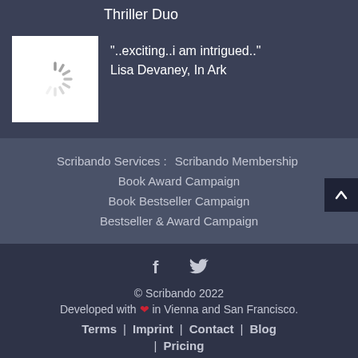Thriller Duo
"..exciting..i am intrigued.." Lisa Devaney, In Ark
Scribando Services : Scribando Membership Book Award Campaign Book Bestseller Campaign Bestseller & Award Campaign
[Figure (logo): Loading spinner icon placeholder (white square with spinning circle graphic)]
© Scribando 2022
Developed with ❤ in Vienna and San Francisco.
Terms | Imprint | Contact | Blog | Pricing